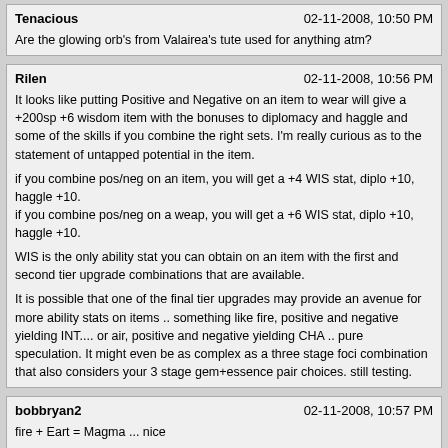Tenacious | 02-11-2008, 10:50 PM | Are the glowing orb's from Valairea's tute used for anything atm?
Rilen | 02-11-2008, 10:56 PM | It looks like putting Positive and Negative on an item to wear will give a +200sp +6 wisdom item with the bonuses to diplomacy and haggle and some of the skills if you combine the right sets. I'm really curious as to the statement of untapped potential in the item.

if you combine pos/neg on an item, you will get a +4 WIS stat, diplo +10, haggle +10.
if you combine pos/neg on a weap, you will get a +6 WIS stat, diplo +10, haggle +10.

WIS is the only ability stat you can obtain on an item with the first and second tier upgrade combinations that are available.

It is possible that one of the final tier upgrades may provide an avenue for more ability stats on items .. something like fire, positive and negative yielding INT.... or air, positive and negative yielding CHA .. pure speculation. It might even be as complex as a three stage foci combination that also considers your 3 stage gem+essence pair choices. still testing.
bobbryan2 | 02-11-2008, 10:57 PM | fire + Eart = Magma ... nice

How abour water + earth = mud 3 x camoflague clickies ???

I forget all of them... but they're based on the lesser planes.

Fire + Earth = Magma